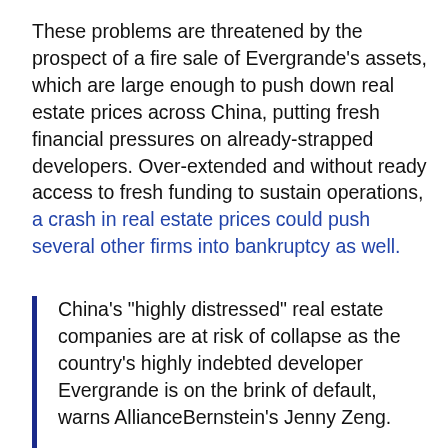These problems are threatened by the prospect of a fire sale of Evergrande's assets, which are large enough to push down real estate prices across China, putting fresh financial pressures on already-strapped developers. Over-extended and without ready access to fresh funding to sustain operations, a crash in real estate prices could push several other firms into bankruptcy as well.
China's "highly distressed" real estate companies are at risk of collapse as the country's highly indebted developer Evergrande is on the brink of default, warns AllianceBernstein's Jenny Zeng.
Speaking with CNBC's "Street Signs Asia" on Friday, the co-head of Asia fixed income at AllianceBernstein warned of a "domino effect" from